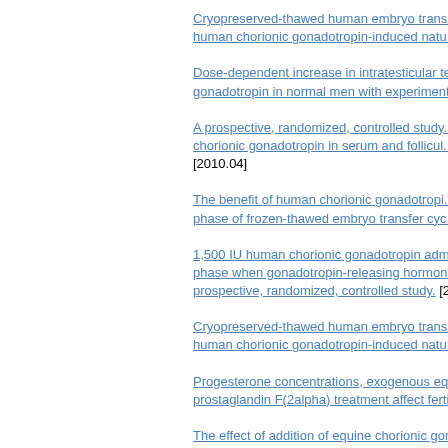Cryopreserved-thawed human embryo trans... human chorionic gonadotropin-induced natu...
Dose-dependent increase in intratesticular te... gonadotropin in normal men with experiment...
A prospective, randomized, controlled study... chorionic gonadotropin in serum and follicul... [2010.04]
The benefit of human chorionic gonadotropi... phase of frozen-thawed embryo transfer cyc...
1,500 IU human chorionic gonadotropin adm... phase when gonadotropin-releasing hormon... prospective, randomized, controlled study. [2...
Cryopreserved-thawed human embryo trans... human chorionic gonadotropin-induced natu...
Progesterone concentrations, exogenous eq... prostaglandin F(2alpha) treatment affect ferti...
The effect of addition of equine chorionic gon... synchronization protocol in buffaloes (Bubalu...